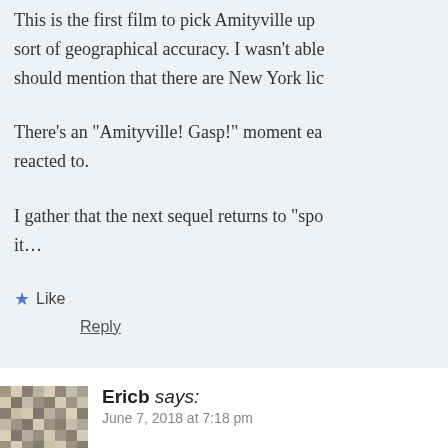This is the first film to pick Amityville up sort of geographical accuracy. I wasn't able should mention that there are New York lic
There's an “Amityville! Gasp!” moment ea reacted to.
I gather that the next sequel returns to “spo it…
★ Like
Reply
[Figure (illustration): Commenter avatar: a geometric mosaic pattern in gray and tan]
Ericb says:
June 7, 2018 at 7:18 pm
Are they actually trying to pretend tha
★ Like